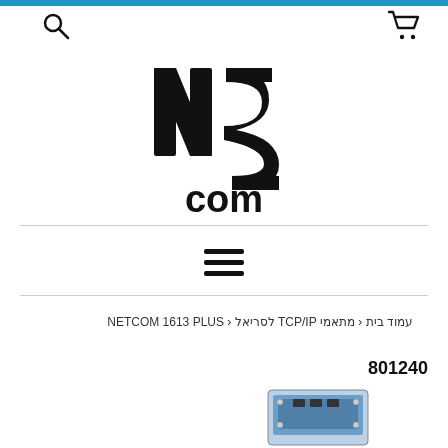Search icon and shopping cart icon
[Figure (logo): YS.com logo — bold black stylized letters YS over the word 'com']
[Figure (other): Hamburger menu icon — three horizontal lines]
עמוד בית ‹ מתאמי TCP/IP לסריאל ‹ NETCOM 1613 PLUS
801240
[Figure (photo): Product photo of NETCOM 1613 PLUS device — a blue rectangular electronic hardware unit]